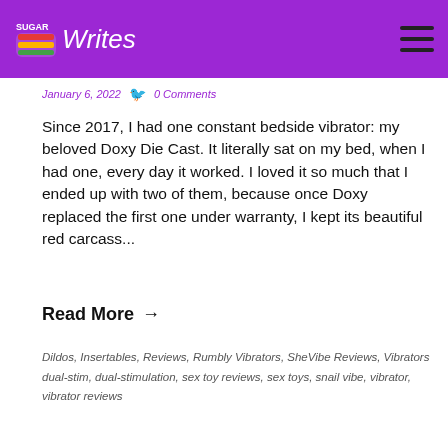Sugar Writes
January 6, 2022   0 Comments
Since 2017, I had one constant bedside vibrator: my beloved Doxy Die Cast. It literally sat on my bed, when I had one, every day it worked. I loved it so much that I ended up with two of them, because once Doxy replaced the first one under warranty, I kept its beautiful red carcass...
Read More →
Dildos, Insertables, Reviews, Rumbly Vibrators, SheVibe Reviews, Vibrators
dual-stim, dual-stimulation, sex toy reviews, sex toys, snail vibe, vibrator, vibrator reviews